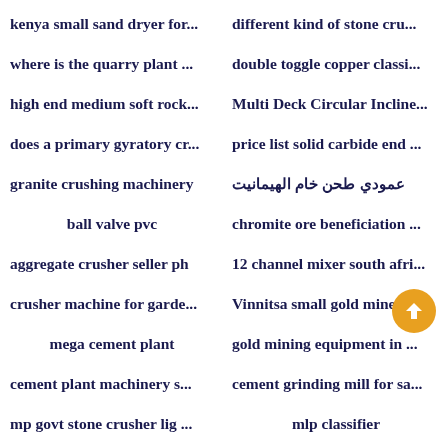kenya small sand dryer for...
different kind of stone cru...
where is the quarry plant ...
double toggle copper classi...
high end medium soft rock...
Multi Deck Circular Incline...
does a primary gyratory cr...
price list solid carbide end ...
granite crushing machinery
عمودي طحن خام الهيمانيت
ball valve pvc
chromite ore beneficiation ...
aggregate crusher seller ph
12 channel mixer south afri...
crusher machine for garde...
Vinnitsa small gold mine d
mega cement plant
gold mining equipment in ...
cement plant machinery s...
cement grinding mill for sa...
mp govt stone crusher lig ...
mlp classifier